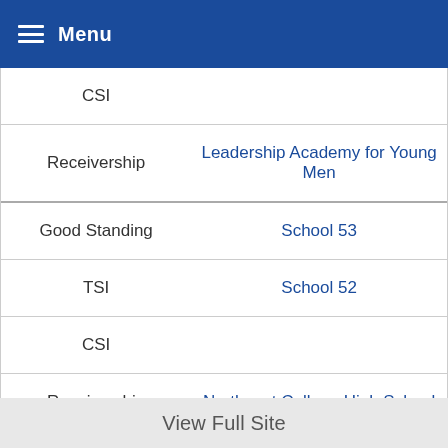Menu
| Status | School |
| --- | --- |
| CSI |  |
| Receivership | Leadership Academy for Young Men |
| Good Standing | School 53 |
| TSI | School 52 |
| CSI |  |
| Receivership | Northeast College High School |
View Full Site